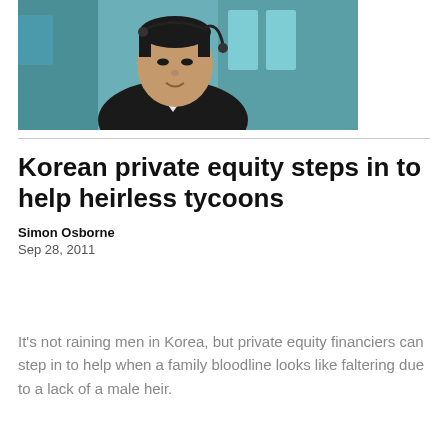[Figure (photo): Headshot of an East Asian man wearing a dark suit and white shirt with a headset, against a teal/blue background]
Korean private equity steps in to help heirless tycoons
Simon Osborne
Sep 28, 2011
It's not raining men in Korea, but private equity financiers can step in to help when a family bloodline looks like faltering due to a lack of a male heir.